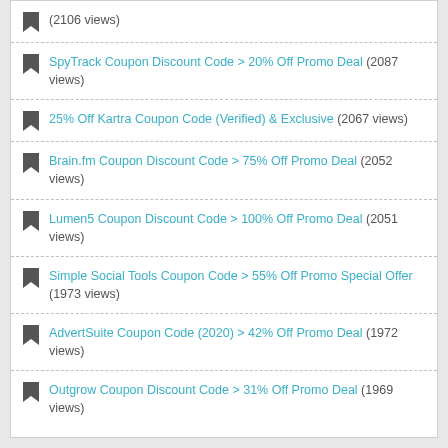(2106 views)
SpyTrack Coupon Discount Code > 20% Off Promo Deal (2087 views)
25% Off Kartra Coupon Code (Verified) & Exclusive (2067 views)
Brain.fm Coupon Discount Code > 75% Off Promo Deal (2052 views)
Lumen5 Coupon Discount Code > 100% Off Promo Deal (2051 views)
Simple Social Tools Coupon Code > 55% Off Promo Special Offer (1973 views)
AdvertSuite Coupon Code (2020) > 42% Off Promo Deal (1972 views)
Outgrow Coupon Discount Code > 31% Off Promo Deal (1969 views)